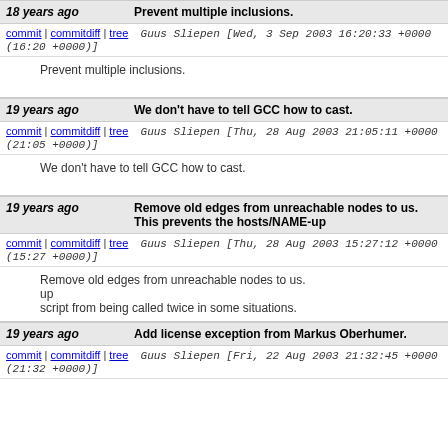18 years ago | Prevent multiple inclusions.
commit | commitdiff | tree   Guus Sliepen [Wed, 3 Sep 2003 16:20:33 +0000 (16:20 +0000)]
Prevent multiple inclusions.
19 years ago | We don't have to tell GCC how to cast.
commit | commitdiff | tree   Guus Sliepen [Thu, 28 Aug 2003 21:05:11 +0000 (21:05 +0000)]
We don't have to tell GCC how to cast.
19 years ago | Remove old edges from unreachable nodes to us. This prevents the hosts/NAME-up
commit | commitdiff | tree   Guus Sliepen [Thu, 28 Aug 2003 15:27:12 +0000 (15:27 +0000)]
Remove old edges from unreachable nodes to us. up
script from being called twice in some situations.
19 years ago | Add license exception from Markus Oberhumer.
commit | commitdiff | tree   Guus Sliepen [Fri, 22 Aug 2003 21:32:45 +0000 (21:32 +0000)]